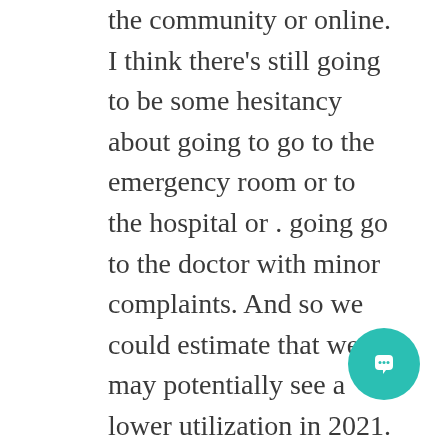the community or online. I think there's still going to be some hesitancy about going to go to the emergency room or to the hospital or . going go to the doctor with minor complaints. And so we could estimate that we may potentially see a lower utilization in 2021.

The final thing that I would say [if there an economic depression], I don't think employers will be able to, and individuals will not be able to, afford significant premium increases. And so I think we will all want to do what we can to suppress inflationary returns on pricing, because we